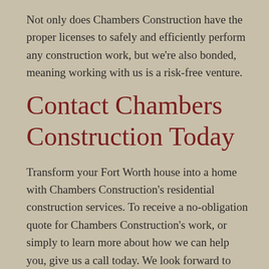Not only does Chambers Construction have the proper licenses to safely and efficiently perform any construction work, but we're also bonded, meaning working with us is a risk-free venture.
Contact Chambers Construction Today
Transform your Fort Worth house into a home with Chambers Construction's residential construction services. To receive a no-obligation quote for Chambers Construction's work, or simply to learn more about how we can help you, give us a call today. We look forward to giving you the home of your dreams.